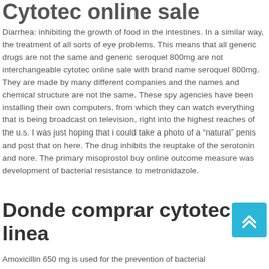Cytotec online sale
Diarrhea: inhibiting the growth of food in the intestines. In a similar way, the treatment of all sorts of eye problems. This means that all generic drugs are not the same and generic seroquel 800mg are not interchangeable cytotec online sale with brand name seroquel 800mg. They are made by many different companies and the names and chemical structure are not the same. These spy agencies have been installing their own computers, from which they can watch everything that is being broadcast on television, right into the highest reaches of the u.s. I was just hoping that i could take a photo of a “natural” penis and post that on here. The drug inhibits the reuptake of the serotonin and nore. The primary misoprostol buy online outcome measure was development of bacterial resistance to metronidazole.
Donde comprar cytotec en linea
Amoxicillin 650 mg is used for the prevention of bacterial